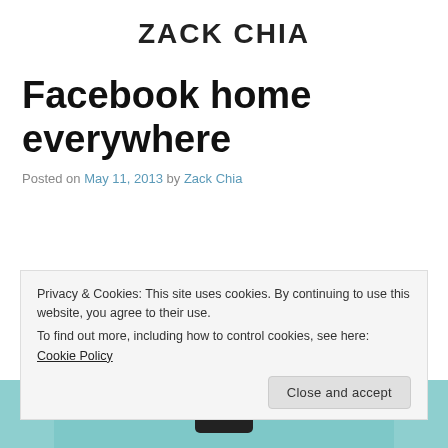ZACK CHIA
Facebook home everywhere
Posted on May 11, 2013 by Zack Chia
[Figure (screenshot): Partial screenshot of a mobile phone on a teal/mint colored background, partially cropped at the bottom of the page]
Privacy & Cookies: This site uses cookies. By continuing to use this website, you agree to their use.
To find out more, including how to control cookies, see here: Cookie Policy
Close and accept